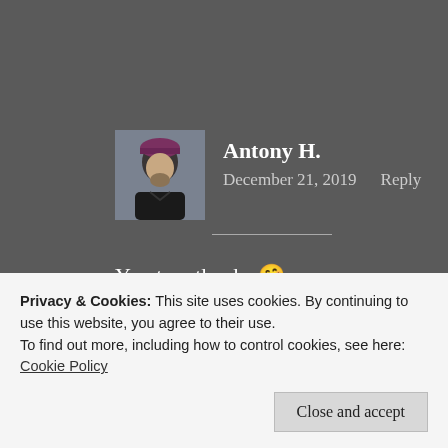[Figure (photo): Avatar photo of Antony H., a person wearing a dark beanie hat and black jacket]
Antony H.
December 21, 2019    Reply
You too, thanks 🤗
★ Liked by 2 people
Privacy & Cookies: This site uses cookies. By continuing to use this website, you agree to their use.
To find out more, including how to control cookies, see here: Cookie Policy
Close and accept